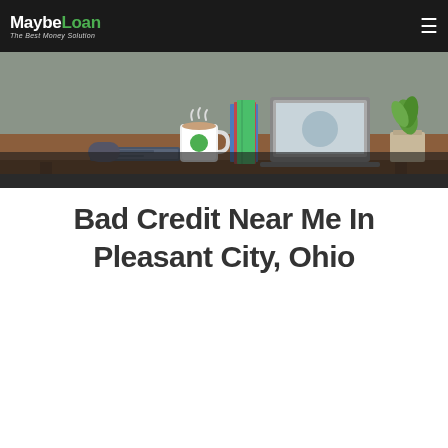[Figure (logo): MaybeLoan - The Best Money Solution logo with white and green text on dark navbar]
[Figure (illustration): Hero banner illustration showing an office desk with laptop, coffee cup, books, and a plant in flat design style]
Bad Credit Near Me In Pleasant City, Ohio